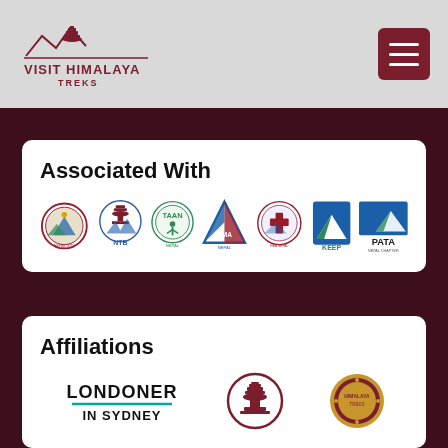[Figure (logo): Visit Himalaya Treks logo with mountain silhouette and stupa icon]
[Figure (logo): Hamburger menu icon button on dark red background]
Associated With
[Figure (logo): Row of association logos: Nepal Tourism Board emblem, NTB, TAAN, NMA, Himalayan Rescue Association Nepal, KEEP, PATA Nepal Chapter]
Affiliations
[Figure (logo): Affiliation logos: Londoner In Sydney, circular stupa logo, circular emblem]